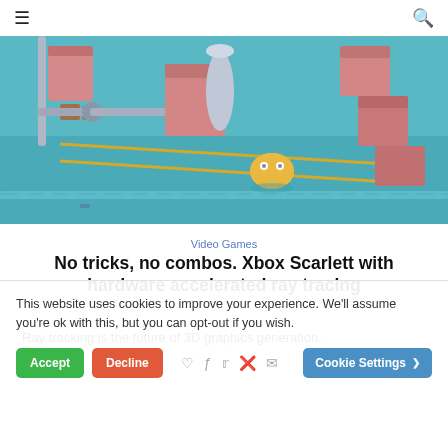≡ (hamburger menu) | 🔍 (search icon)
[Figure (photo): 3D rendered scene showing a factory/warehouse floor with pink and brown boxes, a metallic robotic arm, teal floor with yellow lines, and a small rounded robot on a conveyor system.]
Video Games
No tricks, no combos. Xbox Scarlett with hardware accelerated ray tracing
Ray tracking is the future of 3D graphics generation.
This website uses cookies to improve your experience. We'll assume you're ok with this, but you can opt-out if you wish.
Accept | Decline | Cookie Settings